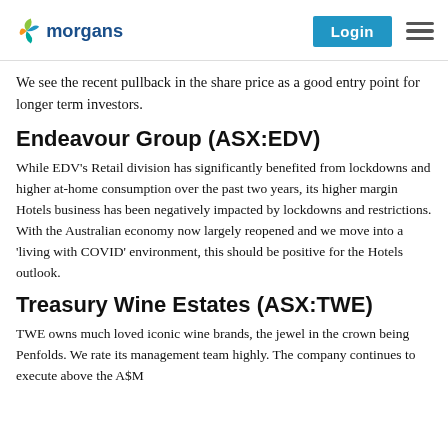morgans | Login
We see the recent pullback in the share price as a good entry point for longer term investors.
Endeavour Group (ASX:EDV)
While EDV's Retail division has significantly benefited from lockdowns and higher at-home consumption over the past two years, its higher margin Hotels business has been negatively impacted by lockdowns and restrictions. With the Australian economy now largely reopened and we move into a 'living with COVID' environment, this should be positive for the Hotels outlook.
Treasury Wine Estates (ASX:TWE)
TWE owns much loved iconic wine brands, the jewel in the crown being Penfolds. We rate its management team highly. The company continues to execute above the A$M...